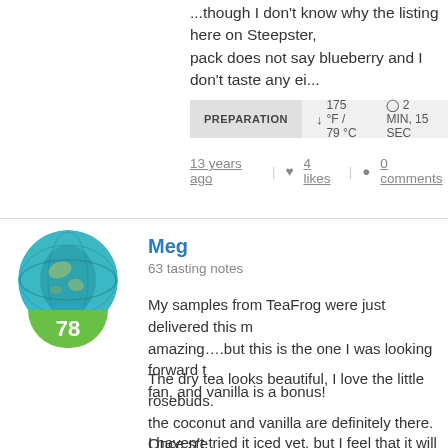...though I don't know why the listing here on Steepster, pack does not say blueberry and I don't taste any ei...
PREPARATION  ↓ 175 °F / 79 °C  ⊙ 2 MIN, 15 SEC
13 years ago | ♥ 4 likes | ● 0 comments
[Figure (photo): User avatar photo of Meg - globe image with teal/green background, score badge 78]
Meg
63 tasting notes
My samples from TeaFrog were just delivered this m amazing....but this is the one I was looking forward t fan, and vanilla is a bonus!
The dry tea looks beautiful, I love the little rosebuds. the coconut and vanilla are definitely there. Once ste light smell. When I drink it the tea itself is the first thi the coconut and vanilla really come out after taking a
I haven't tried it iced yet, but I feel that it will taste ev...